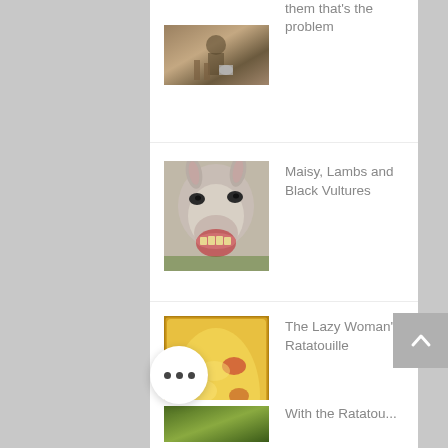them that's the problem
[Figure (photo): Person attending to a horse outdoors with a bucket]
[Figure (photo): Close-up of a donkey with open mouth showing teeth]
Maisy, Lambs and Black Vultures
[Figure (photo): Baked ratatouille dish in a pan with melted cheese]
The Lazy Woman's Ratatouille
[Figure (photo): Partial view of a garden or outdoor scene at bottom of page]